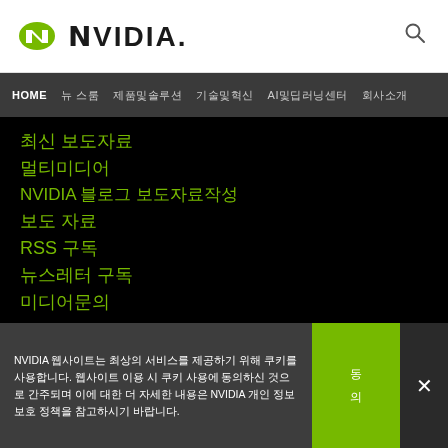NVIDIA [logo] [search icon]
HOME | 뉴스룸 | 제품및솔루션 | 기술및혁신 | AI및딥러닝센터 | 회사소개
최신 보도자료
멀티미디어
NVIDIA 블로그 보도자료작성
보도 자료
RSS 구독
뉴스레터 구독
미디어문의
NVIDIA 웹사이트는 최상의 서비스를 제공하기 위해 쿠키를 사용합니다. 웹사이트 이용 시 쿠키 사용에 동의하신 것으로 간주되며 이에 대한 더 자세한 내용은 NVIDIA 개인 정보 보호 정책을 참고하시기 바랍니다.